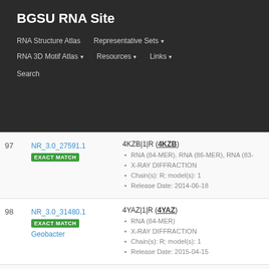BGSU RNA Site
RNA Structure Atlas | Representative Sets ▾ | RNA 3D Motif Atlas ▾ | Resources ▾ | Links ▾ | Search
| # | ID / Badge / Organism | Structure Details |
| --- | --- | --- |
| 97 | NR_3.0_27591.1 EXACT MATCH | 4KZB|1|R (4KZB)
RNA (84-MER), RNA (86-MER), RNA (83-MER)
X-RAY DIFFRACTION
Chain(s): R; model(s): 1
Release Date: 2014-06-18 |
| 98 | NR_3.0_31480.1 EXACT MATCH Geobacter | 4YAZ|1|R (4YAZ)
RNA (84-MER)
X-RAY DIFFRACTION
Chain(s): R; model(s): 1
Release Date: 2015-04-15 |
| 99 | NR_3.0_92081.6 EXACT MATCH synthetic construct | 5FQ5|1|A (5FQ5)
SGRNA, RNA (95-MER)
X-RAY DIFFRACTION
Chain(s): A; model(s): 1 |